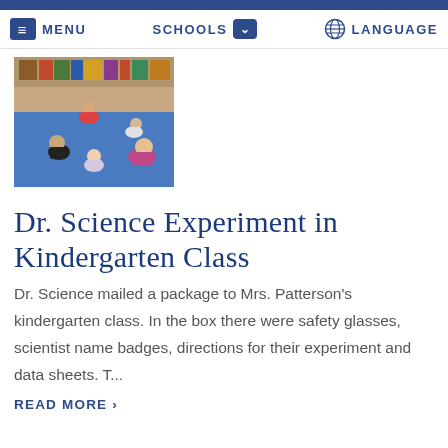MENU   SCHOOLS   LANGUAGE
[Figure (photo): Children sitting in a circle on a blue floor in a kindergarten classroom, participating in an activity with a teacher.]
Dr. Science Experiment in Kindergarten Class
Dr. Science mailed a package to Mrs. Patterson's kindergarten class. In the box there were safety glasses, scientist name badges, directions for their experiment and data sheets. T...
READ MORE >